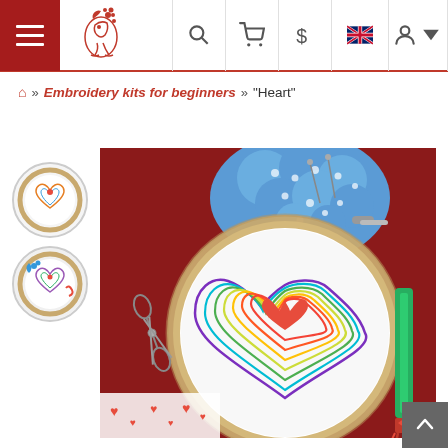Navigation bar with hamburger menu, logo, search, cart, currency, language, and user icons
⌂ » Embroidery kits for beginners » "Heart"
[Figure (photo): Thumbnail 1: embroidery hoop with heart pattern on white fabric, circular thumbnail]
[Figure (photo): Thumbnail 2: embroidery hoop with colorful heart pattern and accessories, circular thumbnail]
[Figure (photo): Main product photo: embroidery hoop with rainbow concentric heart pattern on white fabric, surrounded by blue polka-dot pincushion, decorative scissors, red embroidery floss, and red heart fabric, on dark red background]